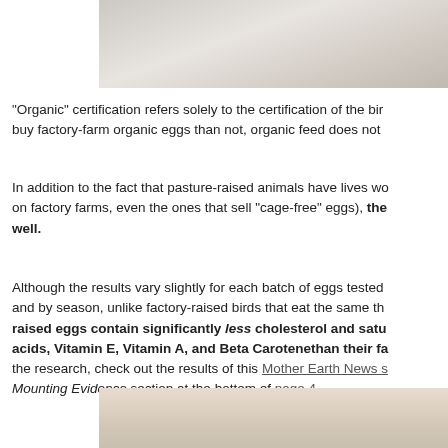[Figure (photo): Photo of white fabric or eggs on a light textured surface, top portion of page]
"Organic" certification refers solely to the certification of the bird's feed. While it's better to buy factory-farm organic eggs than not, organic feed does not...
In addition to the fact that pasture-raised animals have lives worth living (unlike the animals on factory farms, even the ones that sell "cage-free" eggs), their eggs are more nutritious as well.
Although the results vary slightly for each batch of eggs tested and by season, unlike factory-raised birds that eat the same thing year-round, pasture-raised eggs contain significantly less cholesterol and saturated fat and more omega-3 fatty acids, Vitamin E, Vitamin A, and Beta Carotene than their factory-raised counterparts. To see the research, check out the results of this Mother Earth News study, and check out the Mounting Evidence section at the bottom of page 4.
[Figure (photo): Photo of a hand holding an egg, bottom portion of page]